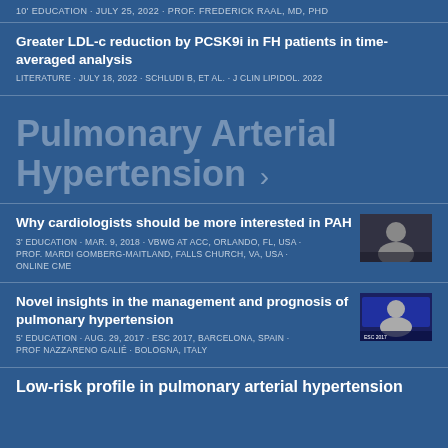10' EDUCATION · JULY 25, 2022 · PROF. FREDERICK RAAL, MD, PHD
Greater LDL-c reduction by PCSK9i in FH patients in time-averaged analysis
LITERATURE · JULY 18, 2022 · SCHLUDI B, ET AL. · J CLIN LIPIDOL. 2022
Pulmonary Arterial Hypertension >
Why cardiologists should be more interested in PAH
3' EDUCATION · MAR. 9, 2018 · VBWG AT ACC, ORLANDO, FL, USA · PROF. MARDI GOMBERG-MAITLAND, FALLS CHURCH, VA, USA · ONLINE CME
[Figure (photo): Thumbnail image of speaker for PAH education video]
Novel insights in the management and prognosis of pulmonary hypertension
5' EDUCATION · AUG. 29, 2017 · ESC 2017, BARCELONA, SPAIN · PROF NAZZARENO GALIÉ · BOLOGNA, ITALY
[Figure (photo): Thumbnail image of speaker for pulmonary hypertension video]
Low-risk profile in pulmonary arterial hypertension